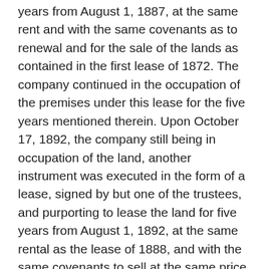years from August 1, 1887, at the same rent and with the same covenants as to renewal and for the sale of the lands as contained in the first lease of 1872. The company continued in the occupation of the premises under this lease for the five years mentioned therein. Upon October 17, 1892, the company still being in occupation of the land, another instrument was executed in the form of a lease, signed by but one of the trustees, and purporting to lease the land for five years from August 1, 1892, at the same rental as the lease of 1888, and with the same covenants to sell at the same price ($12,592), and to renew the lease for five years, as contained in the lease of 1888. This lease was signed by Winslow, alone, he then being one of the substituted trustees, but Jay, another of the substituted trustees, did not sign it, and, so far as appears, never saw it. These two substituted trustees had been duly appointed prior to or in the year 1883. The former trustee, Judge Cox, had resigned in June, 1892, and it does not appear that his successor had then been